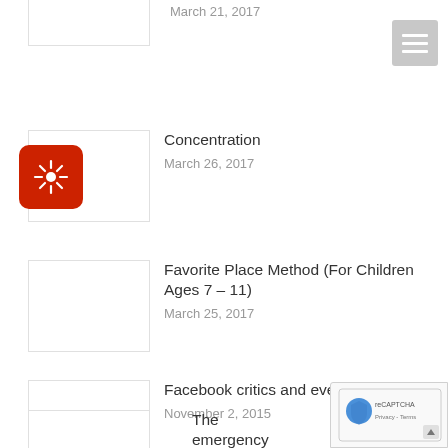March 21, 2017
Concentration — March 26, 2017
Favorite Place Method (For Children Ages 7 – 11) — March 25, 2017
Facebook critics and even the company's CEO — November 2, 2015
The emergency bill Congress pass…